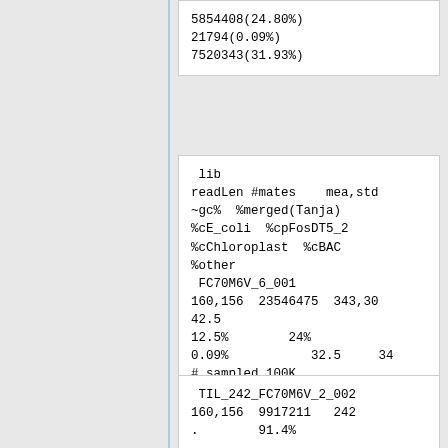5854408(24.80%)
21794(0.09%)
7520343(31.93%)
lib
readLen #mates    mea,std
~gc%  %merged(Tanja)
%cE_coli  %cpFosDT5_2
%cChloroplast  %cBAC
%other
 FC70M6V_6_001
160,156  23546475  343,30
42.5
12.5%        24%
0.09%           32.5     34
# sampled 100K
TIL_242_FC70M6V_2_002
160,156  9917211   242
.        91.4%